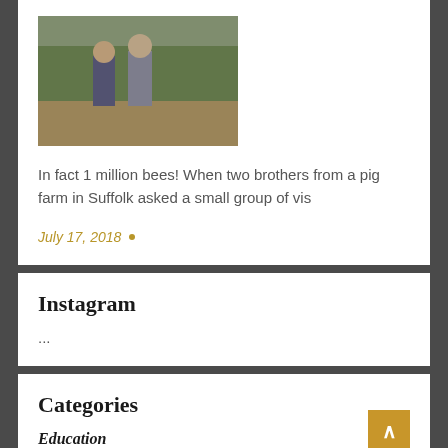[Figure (photo): Two people viewed from behind standing in a field]
In fact 1 million bees! When two brothers from a pig farm in Suffolk asked a small group of vis
July 17, 2018 •
Instagram
...
Categories
Education